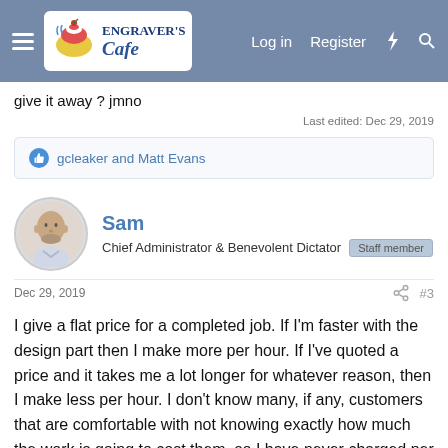Engraver's Cafe — Log in  Register
give it away ? jmno
Last edited: Dec 29, 2019
gcleaker and Matt Evans
Sam
Chief Administrator & Benevolent Dictator  Staff member
Dec 29, 2019  #3
I give a flat price for a completed job. If I'm faster with the design part then I make more per hour. If I've quoted a price and it takes me a lot longer for whatever reason, then I make less per hour. I don't know many, if any, customers that are comfortable with not knowing exactly how much the work is going to cost them, so I have never charged per hour. Just a flat fee for the completed work.